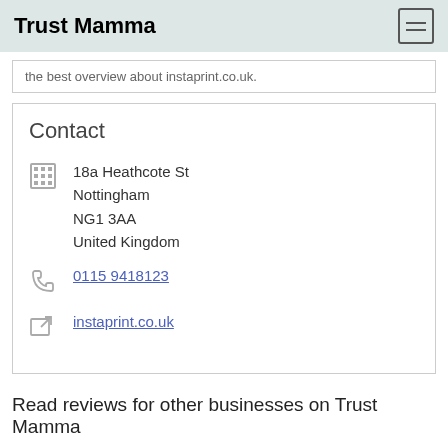Trust Mamma
the best overview about instaprint.co.uk.
Contact
18a Heathcote St
Nottingham
NG1 3AA
United Kingdom
0115 9418123
instaprint.co.uk
Read reviews for other businesses on Trust Mamma
Razors by Dorco
Qantas